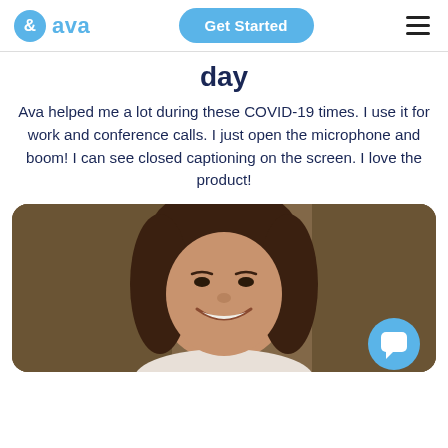& ava | Get Started | ≡
day
Ava helped me a lot during these COVID-19 times. I use it for work and conference calls. I just open the microphone and boom! I can see closed captioning on the screen. I love the product!
[Figure (photo): Portrait photo of a smiling woman with dark hair, wearing a light-colored top, against a warm brown/olive background. A blue chat button icon appears in the bottom-right corner of the image.]